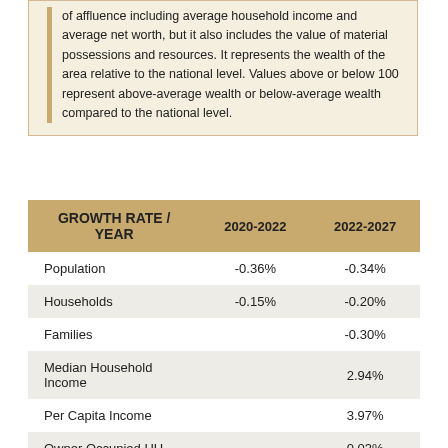of affluence including average household income and average net worth, but it also includes the value of material possessions and resources. It represents the wealth of the area relative to the national level. Values above or below 100 represent above-average wealth or below-average wealth compared to the national level.
| GROWTH RATE / YEAR | 2020-2022 | 2022-2027 |
| --- | --- | --- |
| Population | -0.36% | -0.34% |
| Households | -0.15% | -0.20% |
| Families |  | -0.30% |
| Median Household Income |  | 2.94% |
| Per Capita Income |  | 3.97% |
| Owner Occupied HU |  | 0.03% |